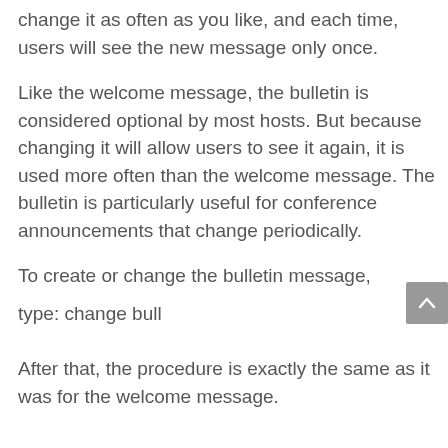change it as often as you like, and each time, users will see the new message only once.
Like the welcome message, the bulletin is considered optional by most hosts. But because changing it will allow users to see it again, it is used more often than the welcome message. The bulletin is particularly useful for conference announcements that change periodically.
To create or change the bulletin message,
type: change bull
After that, the procedure is exactly the same as it was for the welcome message.